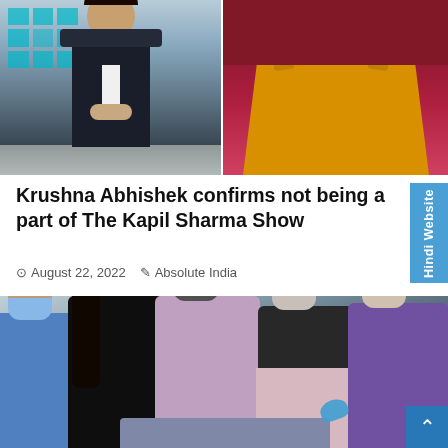[Figure (photo): Two photos side by side: left shows a man in a dark suit standing on a TV show set with teal grid backdrop; right shows a person in a maroon top with a yellow/orange apron]
Krushna Abhishek confirms not being a part of The Kapil Sharma Show
August 22, 2022  Absolute India
[Figure (photo): Group of people wearing face masks, gathered around what appears to be a hospital bed or crib; scene appears to be in a medical or hospital setting]